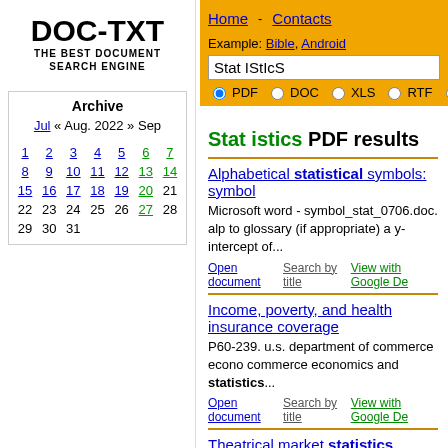Home   Contacts
[Figure (screenshot): DOC-TXT logo with tagline THE BEST DOCUMENT SEARCH ENGINE]
Archive
Jul « Aug. 2022 » Sep
| Sun | Mon | Tue | Wed | Thu | Fri | Sat |
| --- | --- | --- | --- | --- | --- | --- |
| 1 | 2 | 3 | 4 | 5 | 6 | 7 |
| 8 | 9 | 10 | 11 | 12 | 13 | 14 |
| 15 | 16 | 17 | 18 | 19 | 20 | 21 |
| 22 | 23 | 24 | 25 | 26 | 27 | 28 |
| 29 | 30 | 31 |  |  |  |  |
Search box: Stat IStIcS, options PDF, DOC, XLS, RTF, TX
Stat istics PDF results
Alphabetical statistical symbols: symbol
Microsoft word - symbol_stat_0706.doc. alp to glossary (if appropriate) a y- intercept of...
Open document   Search by title   View with Google De
Income, poverty, and health insurance coverage
P60-239. u.s. department of commerce econo commerce economics and statistics...
Open document   Search by title   View with Google De
Theatrical market statistics
• box office • attendance pg. 3-6 • spotlight: a films pg. 13-14 • screens pg. 15-16
Open document   Search by title   View with Google De
statistics